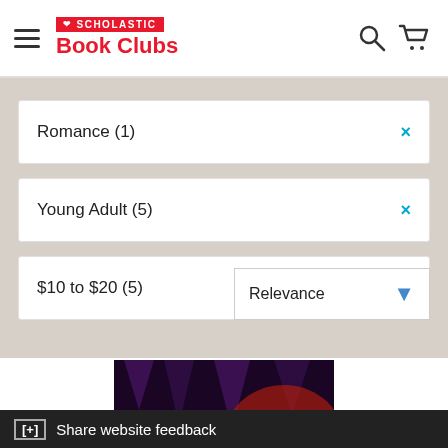Scholastic Book Clubs
Romance (1)
Young Adult (5)
$10 to $20 (5)
Relevance
[Figure (illustration): Book cover for Magical Boy Volume 2, a graphic novel with manga-style artwork showing characters in a dark cave setting with fantasy elements]
[+] Share website feedback